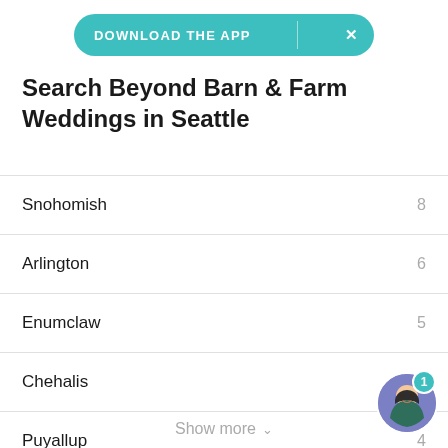[Figure (other): Download the app banner button with teal background and X close button]
Search Beyond Barn & Farm Weddings in Seattle
Snohomish  8
Arlington  6
Enumclaw  5
Chehalis  5
Puyallup  4
Issaquah
Show more